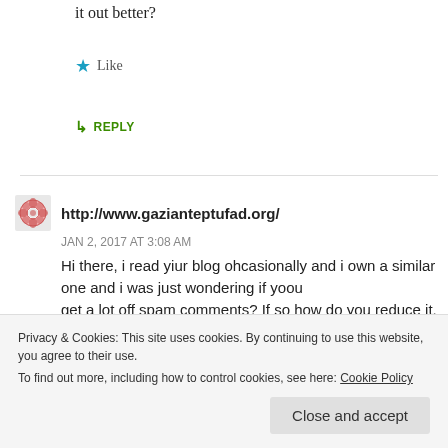it out better?
★ Like
↳ REPLY
http://www.gazianteptufad.org/
JAN 2, 2017 AT 3:08 AM
Hi there, i read yiur blog ohcasionally and i own a similar one and i was just wondering if yoou get a lot off spam comments? If so how do you reduce it, anyy plugin or anything you can advice? I got so much lately it's driving me crazy so
Privacy & Cookies: This site uses cookies. By continuing to use this website, you agree to their use.
To find out more, including how to control cookies, see here: Cookie Policy
Close and accept